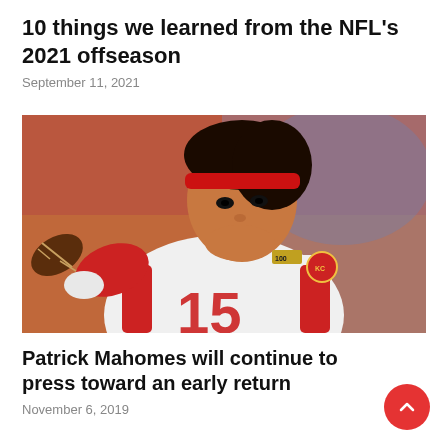10 things we learned from the NFL's 2021 offseason
September 11, 2021
[Figure (photo): Patrick Mahomes in Kansas City Chiefs uniform #15, wearing red headband, in throwing stance holding football]
Patrick Mahomes will continue to press toward an early return
November 6, 2019